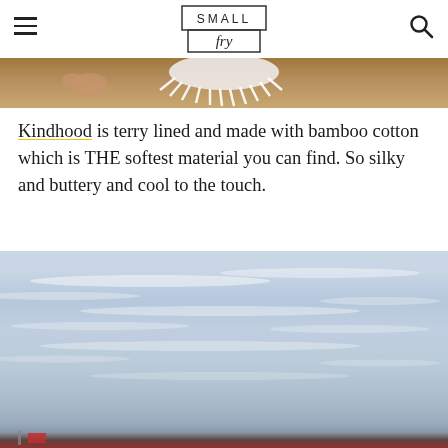SMALL fry — navigation header with hamburger menu and search icon
[Figure (photo): Top portion of a beach scene showing sandy ground with a white fringed item (towel or blanket) and possibly a child's hand, photographed from above]
Kindhood is terry lined and made with bamboo cotton which is THE softest material you can find. So silky and buttery and cool to the touch.
[Figure (photo): Beach scene photographed from low angle showing a large expanse of pale blue cloudy sky with wispy horizontal cloud streaks; at the very bottom edge a small red item is visible on the sand]